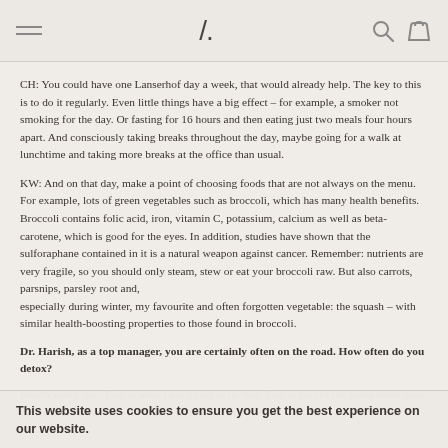/ (logo) [menu icon] [search icon] [bag icon]
CH: You could have one Lanserhof day a week, that would already help. The key to this is to do it regularly. Even little things have a big effect – for example, a smoker not smoking for the day. Or fasting for 16 hours and then eating just two meals four hours apart. And consciously taking breaks throughout the day, maybe going for a walk at lunchtime and taking more breaks at the office than usual.
KW: And on that day, make a point of choosing foods that are not always on the menu. For example, lots of green vegetables such as broccoli, which has many health benefits. Broccoli contains folic acid, iron, vitamin C, potassium, calcium as well as beta-carotene, which is good for the eyes. In addition, studies have shown that the sulforaphane contained in it is a natural weapon against cancer. Remember: nutrients are very fragile, so you should only steam, stew or eat your broccoli raw. But also carrots, parsnips, parsley root and,
especially during winter, my favourite and often forgotten vegetable: the squash – with similar health-boosting properties to those found in broccoli.
Dr. Harish, as a top manager, you are certainly often on the road. How often do you detox?
Ideally every day. That is what I am trying to do that. That is part of the game when your goal is a permanently new quality of life.
This website uses cookies to ensure you get the best experience on our website.